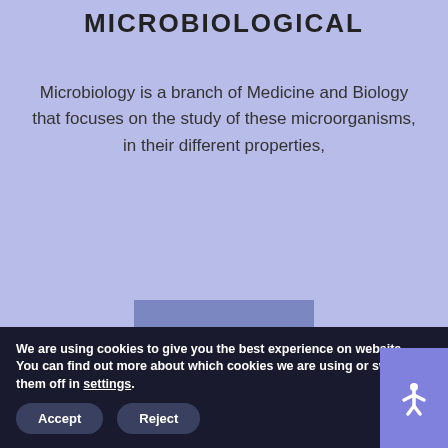MICROBIOLOGICAL
Microbiology is a branch of Medicine and Biology that focuses on the study of these microorganisms, in their different properties,
[Figure (illustration): A blue button/link labeled 'More' with a steel-blue background]
[Figure (illustration): DNA double helix icon on a peach/orange circular background with colorful stripes on the helix]
We are using cookies to give you the best experience on website.
You can find out more about which cookies we are using or switch them off in settings.
Accept
Reject